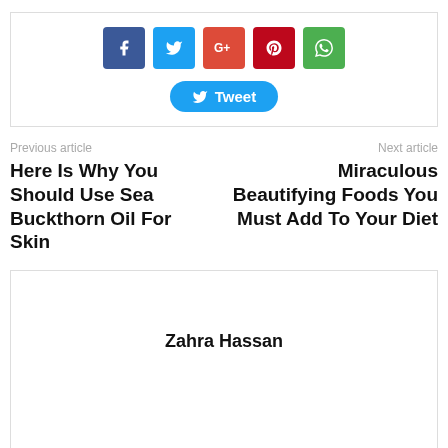[Figure (infographic): Social sharing buttons: Facebook (blue), Twitter (light blue), Google+ (orange-red), Pinterest (dark red), WhatsApp (green), and a Tweet button below]
Previous article
Next article
Here Is Why You Should Use Sea Buckthorn Oil For Skin
Miraculous Beautifying Foods You Must Add To Your Diet
Zahra Hassan